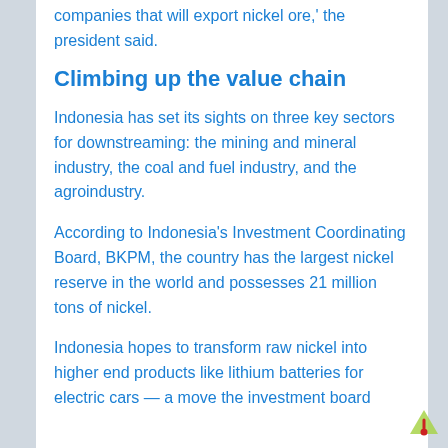companies that will export nickel ore,' the president said.
Climbing up the value chain
Indonesia has set its sights on three key sectors for downstreaming: the mining and mineral industry, the coal and fuel industry, and the agroindustry.
According to Indonesia’s Investment Coordinating Board, BKPM, the country has the largest nickel reserve in the world and possesses 21 million tons of nickel.
Indonesia hopes to transform raw nickel into higher end products like lithium batteries for electric cars — a move the investment board